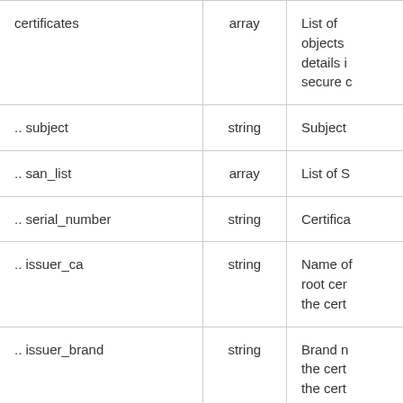| Field | Type | Description |
| --- | --- | --- |
| certificates | array | List of objects details secure … |
| .. subject | string | Subject |
| .. san_list | array | List of S |
| .. serial_number | string | Certifica |
| .. issuer_ca | string | Name of root cer the cert |
| .. issuer_brand | string | Brand n the cert the cert |